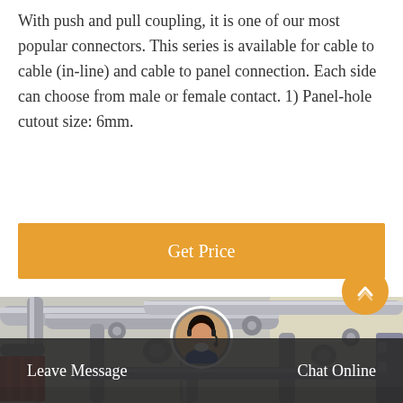With push and pull coupling, it is one of our most popular connectors. This series is available for cable to cable (in-line) and cable to panel connection. Each side can choose from male or female contact. 1) Panel-hole cutout size: 6mm.
[Figure (other): Orange 'Get Price' button]
[Figure (photo): Industrial pipes and connectors, grey metallic industrial equipment with pipes and fittings]
[Figure (other): Footer bar with Leave Message and Chat Online buttons, and a customer service avatar]